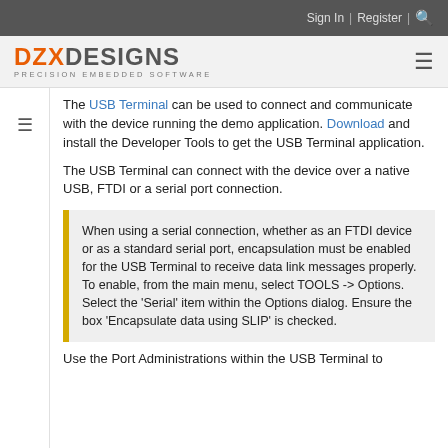Sign In | Register | 🔍
[Figure (logo): DZX DESIGNS - PRECISION EMBEDDED SOFTWARE logo with hamburger menu icon]
The USB Terminal can be used to connect and communicate with the device running the demo application. Download and install the Developer Tools to get the USB Terminal application.
The USB Terminal can connect with the device over a native USB, FTDI or a serial port connection.
When using a serial connection, whether as an FTDI device or as a standard serial port, encapsulation must be enabled for the USB Terminal to receive data link messages properly. To enable, from the main menu, select TOOLS -> Options. Select the 'Serial' item within the Options dialog. Ensure the box 'Encapsulate data using SLIP' is checked.
Use the Port Administrations within the USB Terminal to